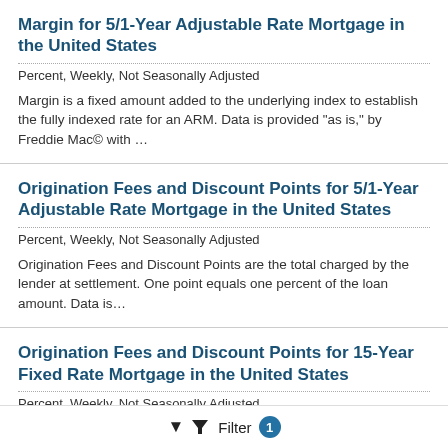Margin for 5/1-Year Adjustable Rate Mortgage in the United States
Percent, Weekly, Not Seasonally Adjusted
Margin is a fixed amount added to the underlying index to establish the fully indexed rate for an ARM. Data is provided "as is," by Freddie Mac© with …
Origination Fees and Discount Points for 5/1-Year Adjustable Rate Mortgage in the United States
Percent, Weekly, Not Seasonally Adjusted
Origination Fees and Discount Points are the total charged by the lender at settlement. One point equals one percent of the loan amount. Data is…
Origination Fees and Discount Points for 15-Year Fixed Rate Mortgage in the United States
Percent, Weekly, Not Seasonally Adjusted
Filter 1